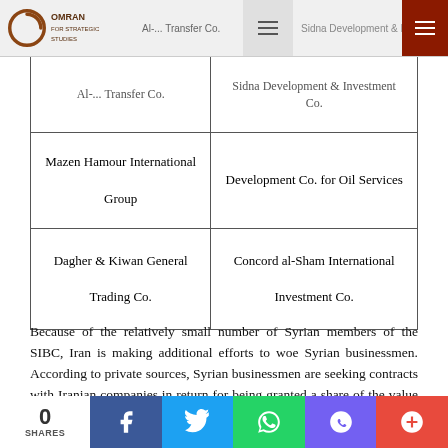OMRAN FOR STRATEGIC STUDIES | Al-... Transfer Co. | Sidna Development & Investment Co.
| Al-... Transfer Co. | Sidna Development & Investment Co. |
| Mazen Hamour International Group | Development Co. for Oil Services |
| Dagher & Kiwan General Trading Co. | Concord al-Sham International Investment Co. |
Because of the relatively small number of Syrian members of the SIBC, Iran is making additional efforts to woe Syrian businessmen. According to private sources, Syrian businessmen are seeking contracts with Iranian companies in return for being granted a share of the value of the contract. Table 6 shows key Syrian figures engaged with Iran.
Table 6: Syrian Businessmen Engaged with Iran
0 SHARES | Facebook | Twitter | WhatsApp | Viber | +